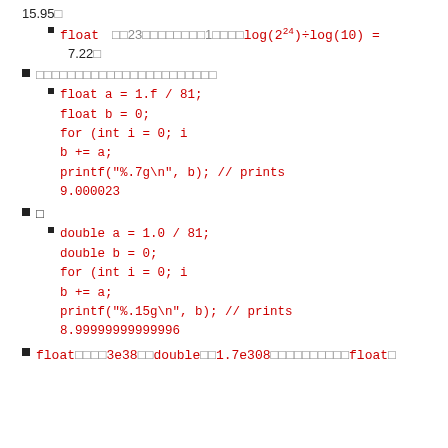15.95位
float  位位23位位位位位位位1位位位位log(2^24)÷log(10) = 7.22位
位位位位位位位位位位位位位位位位位位位位位位位
float a = 1.f / 81; float b = 0; for (int i = 0; i b += a; printf("%.7g\n", b); // prints 9.000023
位
double a = 1.0 / 81; double b = 0; for (int i = 0; i b += a; printf("%.15g\n", b); // prints 8.99999999999996
float位位位位3e38位位double位位1.7e308位位位位位位位位位float位